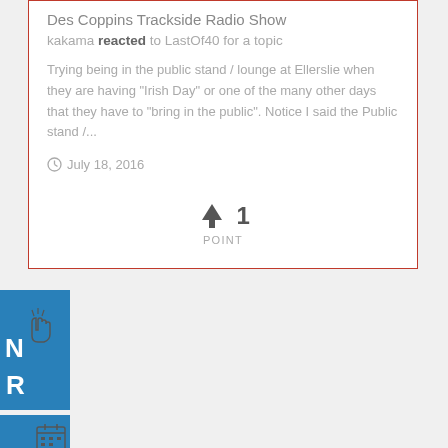Des Coppins Trackside Radio Show
kakama reacted to LastOf40 for a topic
Trying being in the public stand / lounge at Ellerslie when they are having "Irish Day" or one of the many other days that they have to "bring in the public". Notice I said the Public stand /...
July 18, 2016
↑ 1 POINT
[Figure (screenshot): Blue panel on left side with cursor pointer icon and partially visible letters R and N in white, and a small calendar icon below]
[Figure (screenshot): Second blue panel at bottom left with a small calendar/grid icon]